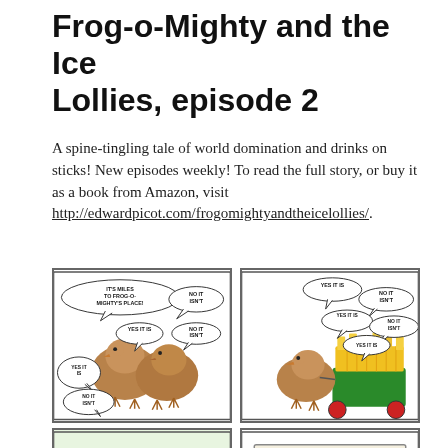Frog-o-Mighty and the Ice Lollies, episode 2
A spine-tingling tale of world domination and drinks on sticks! New episodes weekly! To read the full story, or buy it as a book from Amazon, visit http://edwardpicot.com/frogomightyandtheicelollies/.
[Figure (illustration): Comic strip panel 1: Two brown birds with speech bubbles saying 'IT'S MILES TO FROG-O-MIGHTY'S PLACE!', 'NO IT ISN'T', 'YES IT IS', 'NO IT ISN'T', 'YES IT IS', 'NO IT ISN'T', 'YES IT IS', 'NO IT ISN'T']
[Figure (illustration): Comic strip panel 2: A brown bird pulling a green cart loaded with yellow ice lollies, speech bubbles saying 'YES IT IS', 'NO IT ISN'T', 'YES IT IS', 'NO IT ISN'T', 'YES IT IS']
[Figure (illustration): Comic strip panel 3: Green forest trees with bare brown trunks]
[Figure (illustration): Comic strip panel 4: Sign reading 'FROG-O-MIGHTY'S ICE LOLLIES LARGE' with colorful ice lollies below]